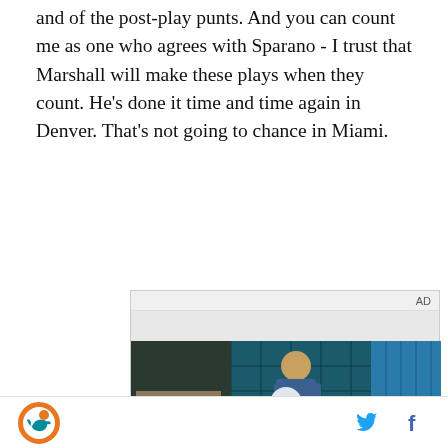and of the post-play punts. And you can count me as one who agrees with Sparano - I trust that Marshall will make these plays when they count. He's done it time and time again in Denver. That's not going to chance in Miami.
[Figure (screenshot): Video advertisement with AD label at top right, showing a young man in a denim jacket walking in what appears to be a food court or mall setting with teal/blue tiled wall behind him. Play button overlay in center. Text reads 'Unfold your world'.]
Miami Dolphins logo | Twitter icon | Facebook icon